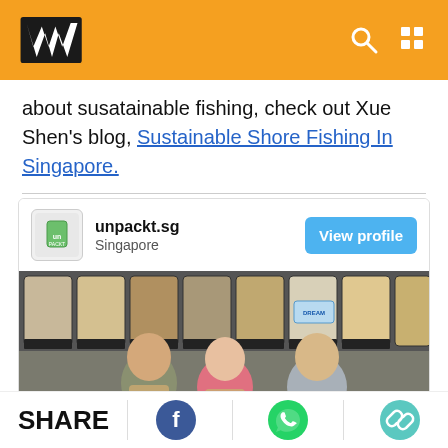W logo header with search and grid icons
about susatainable fishing, check out Xue Shen's blog, Sustainable Shore Fishing In Singapore.
[Figure (photo): Card showing unpackt.sg Singapore profile with photo of three people standing in front of bulk food dispensers, wearing aprons with unpackt logo]
SHARE - Facebook, WhatsApp, Link icons